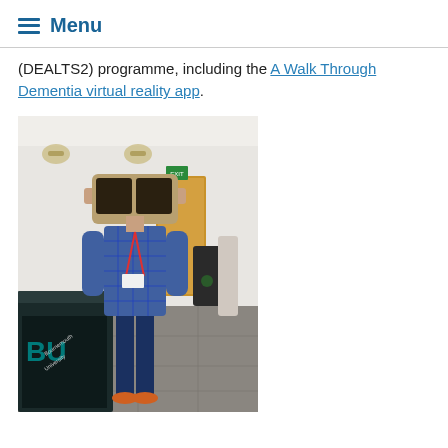Menu
(DEALTS2) programme, including the A Walk Through Dementia virtual reality app.
[Figure (photo): A person standing in a Bournemouth University reception area, holding a cardboard VR headset up to their face. They are wearing a blue plaid shirt, jeans, and orange trainers, with a lanyard. The BU reception desk is visible in the background with the Bournemouth University logo.]